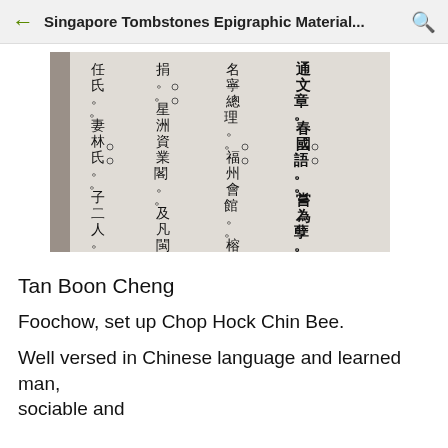Singapore Tombstones Epigraphic Material...
[Figure (photo): Scanned image of Chinese tombstone epigraphic text arranged in vertical columns, reading right to left. Text includes: 通文章。春國語。嘗為孽。倚 名寧總理。。福州會館。。榕南別 捐。。星洲資業閣。。及凡閩於民 任氏。。妻林氏。。子二人。。長鏡]
Tan Boon Cheng
Foochow, set up Chop Hock Chin Bee.
Well versed in Chinese language and learned man, sociable and...